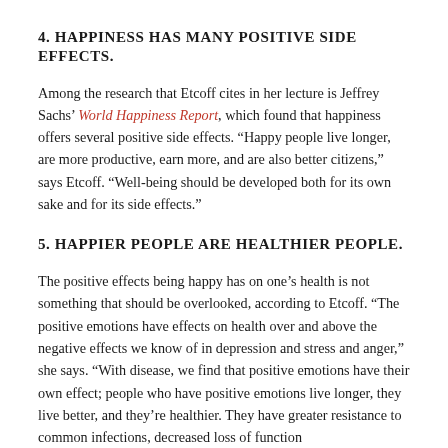4. HAPPINESS HAS MANY POSITIVE SIDE EFFECTS.
Among the research that Etcoff cites in her lecture is Jeffrey Sachs' World Happiness Report, which found that happiness offers several positive side effects. “Happy people live longer, are more productive, earn more, and are also better citizens,” says Etcoff. “Well-being should be developed both for its own sake and for its side effects.”
5. HAPPIER PEOPLE ARE HEALTHIER PEOPLE.
The positive effects being happy has on one’s health is not something that should be overlooked, according to Etcoff. “The positive emotions have effects on health over and above the negative effects we know of in depression and stress and anger,” she says. “With disease, we find that positive emotions have their own effect; people who have positive emotions live longer, they live better, and they’re healthier. They have greater resistance to common infections, decreased loss of function